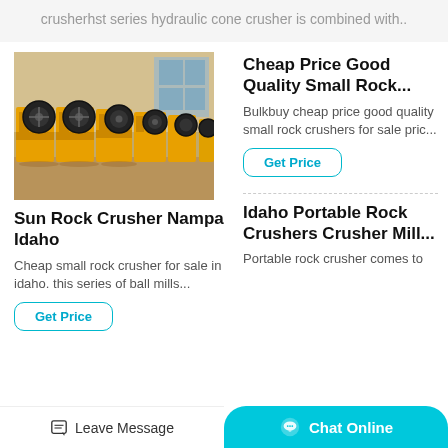crusherhst series hydraulic cone crusher is combined with..
[Figure (photo): Row of yellow jaw crushers with black flywheels lined up in a factory yard]
Sun Rock Crusher Nampa Idaho
Cheap small rock crusher for sale in idaho. this series of ball mills...
Get Price
Cheap Price Good Quality Small Rock...
Bulkbuy cheap price good quality small rock crushers for sale pric...
Get Price
Idaho Portable Rock Crushers Crusher Mill...
Portable rock crusher comes to
Leave Message
Chat Online